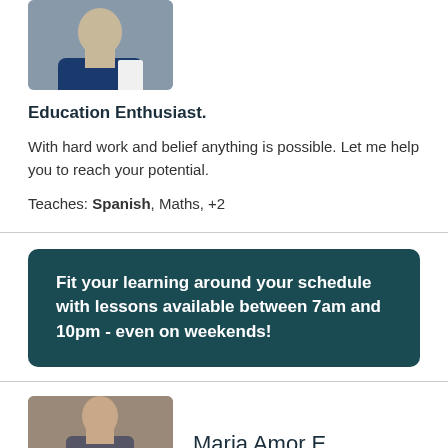[Figure (photo): Portrait photo of a man in a dark blue suit with a white shirt, standing in front of a floral background]
Education Enthusiast.
With hard work and belief anything is possible. Let me help you to reach your potential.
Teaches: Spanish, Maths, +2
Fit your learning around your schedule with lessons available between 7am and 10pm - even on weekends!
[Figure (photo): Portrait photo of Maria Amor E, a woman with dark hair]
Maria Amor E